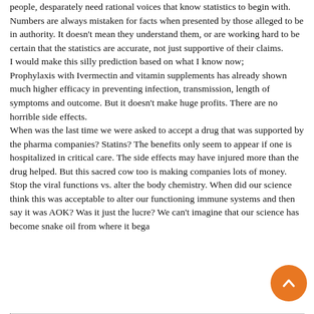people, desparately need rational voices that know statistics to begin with. Numbers are always mistaken for facts when presented by those alleged to be in authority. It doesn't mean they understand them, or are working hard to be certain that the statistics are accurate, not just supportive of their claims. I would make this silly prediction based on what I know now; Prophylaxis with Ivermectin and vitamin supplements has already shown much higher efficacy in preventing infection, transmission, length of symptoms and outcome. But it doesn't make huge profits. There are no horrible side effects. When was the last time we were asked to accept a drug that was supported by the pharma companies? Statins? The benefits only seem to appear if one is hospitalized in critical care. The side effects may have injured more than the drug helped. But this sacred cow too is making companies lots of money. Stop the viral functions vs. alter the body chemistry. When did our science think this was acceptable to alter our functioning immune systems and then say it was AOK? Was it just the lucre? We can't imagine that our science has become snake oil from where it began.